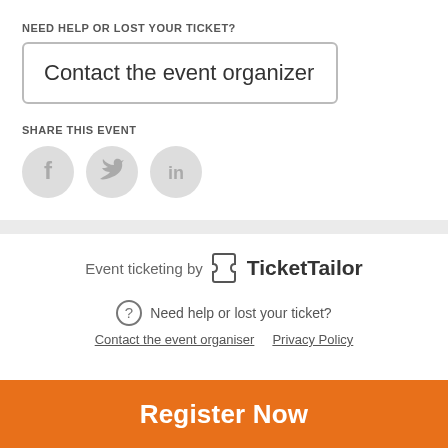NEED HELP OR LOST YOUR TICKET?
Contact the event organizer
SHARE THIS EVENT
[Figure (illustration): Three social media icon circles: Facebook (f), Twitter (bird), LinkedIn (in), all in light grey]
[Figure (logo): Event ticketing by TicketTailor logo with ticket icon]
Need help or lost your ticket?
Contact the event organiser   Privacy Policy
Register Now